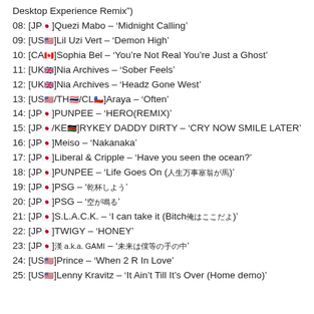Desktop Experience Remix")
08: [JP🇯🇵]Quezi Mabo – 'Midnight Calling'
09: [US🇺🇸]Lil Uzi Vert – 'Demon High'
10: [CA🇨🇦]Sophia Bel – 'You're Not Real You're Just a Ghost'
11: [UK🇬🇧]Nia Archives – 'Sober Feels'
12: [UK🇬🇧]Nia Archives – 'Headz Gone West'
13: [US🇺🇸/TH🇹🇭/CL🇨🇱]Araya – 'Often'
14: [JP🇯🇵]PUNPEE – 'HERO(REMIX)'
15: [JP🇯🇵/KE🇰🇪]RYKEY DADDY DIRTY – 'CRY NOW SMILE LATER'
16: [JP🇯🇵]Meiso – 'Nakanaka'
17: [JP🇯🇵]Liberal & Cripple – 'Have you seen the ocean?'
18: [JP🇯🇵]PUNPEE – 'Life Goes On (人生万事塞翁が馬)'
19: [JP🇯🇵]PSG – '乾杯しよう'
20: [JP🇯🇵]PSG – '空が鳴る'
21: [JP🇯🇵]S.L.A.C.K. – 'I can take it (Bitch俺はここだよ)'
22: [JP🇯🇵]TWIGY – 'HONEY'
23: [JP🇯🇵]漢 a.k.a. GAMI – '未来は僕等の手の中'
24: [US🇺🇸]Prince – 'When 2 R In Love'
25: [US🇺🇸]Lenny Kravitz – 'It Ain't Till It's Over (Home demo)'